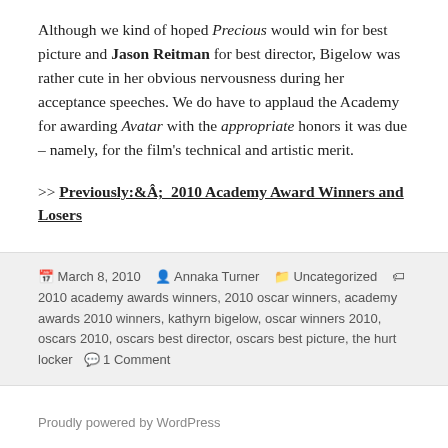Although we kind of hoped Precious would win for best picture and Jason Reitman for best director, Bigelow was rather cute in her obvious nervousness during her acceptance speeches. We do have to applaud the Academy for awarding Avatar with the appropriate honors it was due – namely, for the film's technical and artistic merit.
>> Previously:Â  2010 Academy Award Winners and Losers
March 8, 2010  Annaka Turner  Uncategorized  2010 academy awards winners, 2010 oscar winners, academy awards 2010 winners, kathyrn bigelow, oscar winners 2010, oscars 2010, oscars best director, oscars best picture, the hurt locker  1 Comment
Proudly powered by WordPress